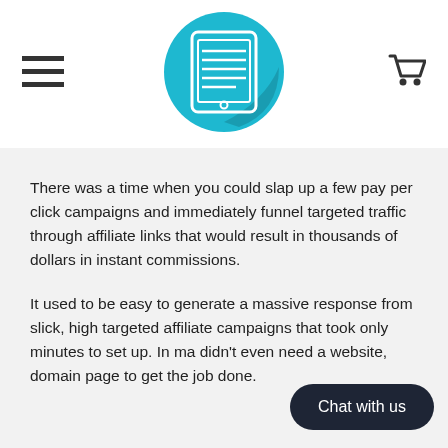[Figure (logo): Blue circle with white tablet/document icon in the center, with a shadow effect]
There was a time when you could slap up a few pay per click campaigns and immediately funnel targeted traffic through affiliate links that would result in thousands of dollars in instant commissions.
It used to be easy to generate a massive response from slick, high targeted affiliate campaigns that took only minutes to set up. In ma didn't even need a website, domain page to get the job done.